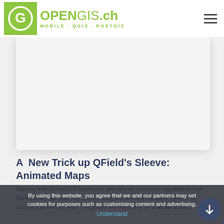OPENGIS.ch — MOBILE · QGIS · POSTGIS
[Figure (screenshot): White card area showing a blank/white image placeholder on the OPENGIS.ch website]
A New Trick up QField's Sleeve: Animated Maps
Starting with QField 2.2, users can fully rely on animation capabilities that have made their way into QGIS during the last development cycle. This can be a powerful mean to highlight key elements on a Read more…